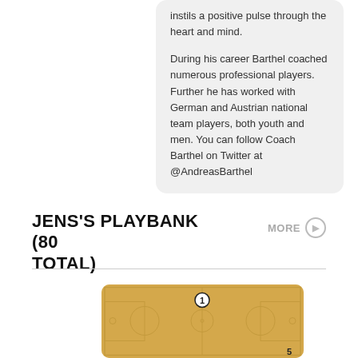instils a positive pulse through the heart and mind.

During his career Barthel coached numerous professional players. Further he has worked with German and Austrian national team players, both youth and men. You can follow Coach Barthel on Twitter at @AndreasBarthel
JENS'S PLAYBANK (80 TOTAL)
MORE
[Figure (illustration): Basketball court diagram with player position marker numbered 1 and court markings visible]